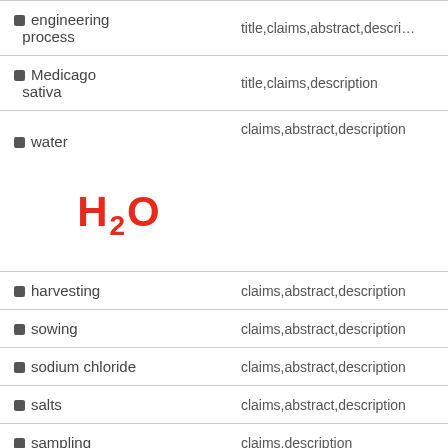| Term | Fields |
| --- | --- |
| engineering process | title,claims,abstract,description |
| Medicago sativa | title,claims,description |
| water (H2O) | claims,abstract,description |
| harvesting | claims,abstract,description |
| sowing | claims,abstract,description |
| sodium chloride | claims,abstract,description |
| salts | claims,abstract,description |
| sampling | claims,description |
| irrigation | claims,description |
| irrigation | claims,description |